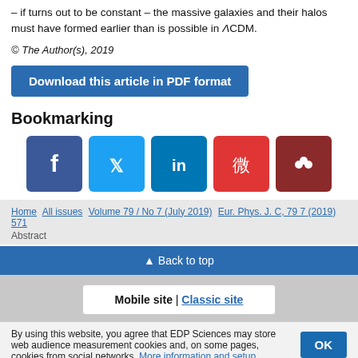– if turns out to be constant – the massive galaxies and their halos must have formed earlier than is possible in ΛCDM.
© The Author(s), 2019
Download this article in PDF format
Bookmarking
[Figure (other): Social media bookmarking icons: Facebook, Twitter, LinkedIn, Weibo, Mendeley]
Home  All issues  Volume 79 / No 7 (July 2019)  Eur. Phys. J. C, 79 7 (2019) 571  Abstract
▲ Back to top
Mobile site | Classic site
By using this website, you agree that EDP Sciences may store web audience measurement cookies and, on some pages, cookies from social networks. More information and setup